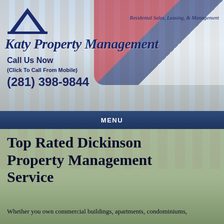[Figure (logo): Katy Property Management logo with dark blue chevron/roof shape above company name in italic serif font, with tagline 'Residental Sales, Leasing, & Management' and Texas flag with city skyline in background]
Call Us Now
(Click To Call From Mobile)
(281) 398-9844
MENU
Top Rated Dickinson Property Management Service
Whether you own commercial buildings, apartments, condominiums,